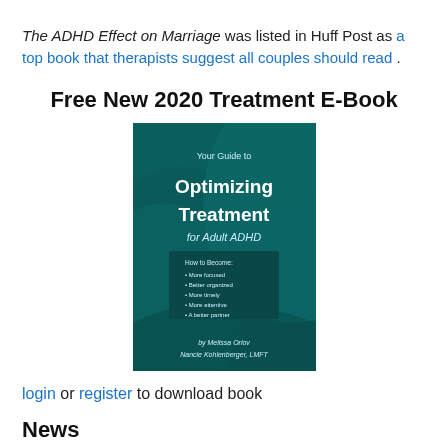The ADHD Effect on Marriage was listed in Huff Post as a top book that therapists suggest all couples should read .
Free New 2020 Treatment E-Book
[Figure (illustration): Book cover: 'Your Guide to Optimizing Treatment for Adult ADHD' by Melissa Orlov and Nancie Kohlenberger, LMFT. Dark teal cover with white bold text.]
login or register to download book
News
Register for free marriage tips here! "Your weekly messages are beyond wonderful to